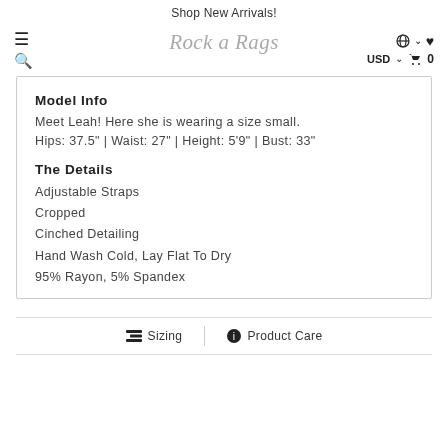Shop New Arrivals!
[Figure (screenshot): Navigation bar with hamburger menu, search icon, Rock n Rags script logo, globe/language selector, heart wishlist, USD currency selector, and cart with 0 items]
Model Info
Meet Leah! Here she is wearing a size small.
Hips: 37.5" | Waist: 27" | Height: 5'9" | Bust: 33"
The Details
Adjustable Straps
Cropped
Cinched Detailing
Hand Wash Cold, Lay Flat To Dry
95% Rayon, 5% Spandex
Sizing | Product Care